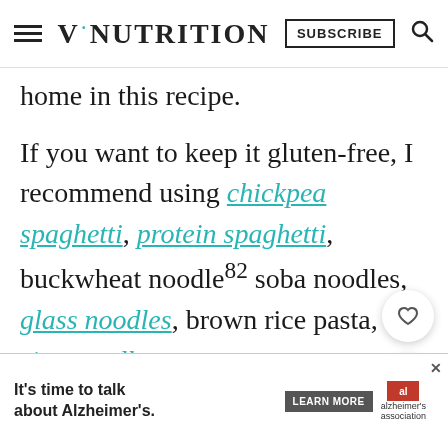V·NUTRITION | SUBSCRIBE
home in this recipe.
If you want to keep it gluten-free, I recommend using chickpea spaghetti, protein spaghetti, buckwheat noodles82 soba noodles, glass noodles, brown rice pasta, or rice noodles.
Otherwise, you can use any type you h...
[Figure (other): Advertisement banner: 'It's time to talk about Alzheimer's.' with LEARN MORE button and Alzheimer's Association logo]